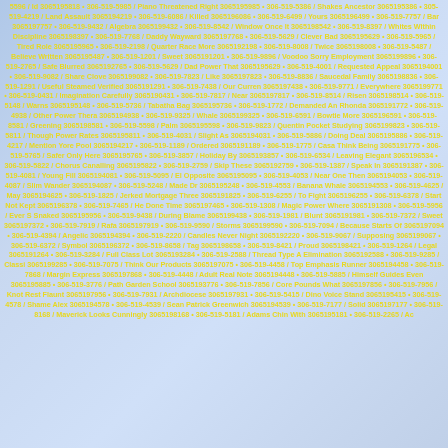Dense list of entries with names and phone numbers in yellow text on gradient blue background